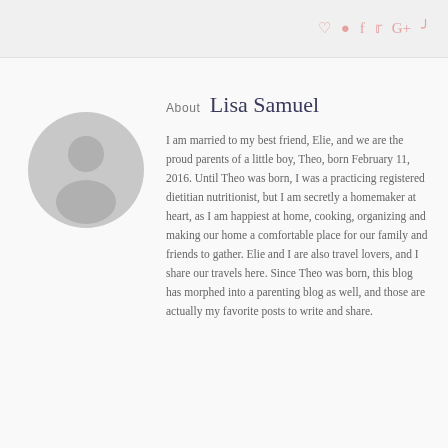♡ ● f t G+ ®
[Figure (illustration): Gray circular avatar placeholder showing a generic silhouette of a person (head and shoulders) in light gray on a slightly darker gray circle background.]
About  Lisa Samuel
I am married to my best friend, Elie, and we are the proud parents of a little boy, Theo, born February 11, 2016. Until Theo was born, I was a practicing registered dietitian nutritionist, but I am secretly a homemaker at heart, as I am happiest at home, cooking, organizing and making our home a comfortable place for our family and friends to gather. Elie and I are also travel lovers, and I share our travels here. Since Theo was born, this blog has morphed into a parenting blog as well, and those are actually my favorite posts to write and share.